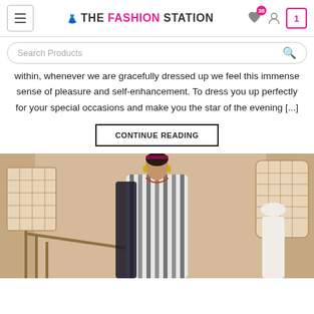THE FASHION STATION
Search Products
within, whenever we are gracefully dressed up we feel this immense sense of pleasure and self-enhancement. To dress you up perfectly for your special occasions and make you the star of the evening [...]
CONTINUE READING
[Figure (photo): A woman in a stylish black and white striped outfit standing on steps with decorative lattice window architecture in the background.]